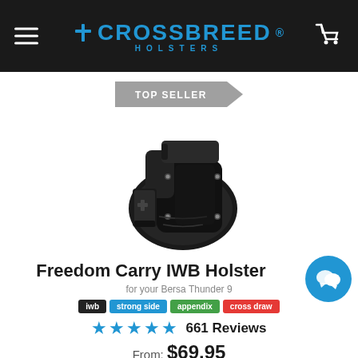CrossBreed Holsters — navigation header with menu icon, logo, and cart icon
TOP SELLER
[Figure (photo): Product photo of the CrossBreed Freedom Carry IWB Holster — a black leather-backed holster with Kydex shell holding a handgun, shown on white background]
Freedom Carry IWB Holster
for your Bersa Thunder 9
iwb  strong side  appendix  cross draw
★★★★★ 661 Reviews
From: $69.95